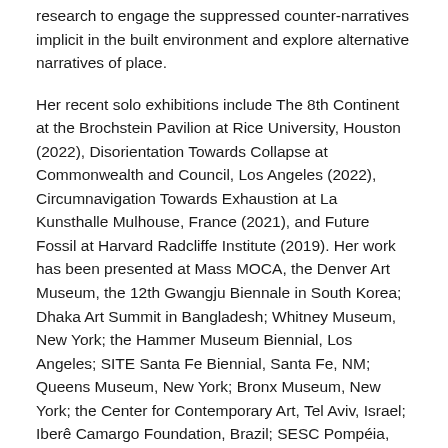research to engage the suppressed counter-narratives implicit in the built environment and explore alternative narratives of place.
Her recent solo exhibitions include The 8th Continent at the Brochstein Pavilion at Rice University, Houston (2022), Disorientation Towards Collapse at Commonwealth and Council, Los Angeles (2022), Circumnavigation Towards Exhaustion at La Kunsthalle Mulhouse, France (2021), and Future Fossil at Harvard Radcliffe Institute (2019). Her work has been presented at Mass MOCA, the Denver Art Museum, the 12th Gwangju Biennale in South Korea; Dhaka Art Summit in Bangladesh; Whitney Museum, New York; the Hammer Museum Biennial, Los Angeles; SITE Santa Fe Biennial, Santa Fe, NM; Queens Museum, New York; Bronx Museum, New York; the Center for Contemporary Art, Tel Aviv, Israel; Iberê Camargo Foundation, Brazil; SESC Pompéia, Brazil; Skulpturenmuseum Glaskasten Marl, Marl, Germany; and K 11 Art Foundation, Hong Kong.